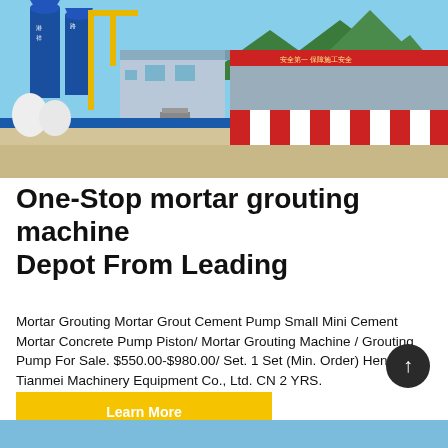[Figure (photo): Outdoor industrial concrete/mortar batching plant facility with blue silos, yellow crane structure, office building, and a large warehouse with red-striped lower facade. Mountains and blue sky in background.]
One-Stop mortar grouting machine Depot From Leading
Mortar Grouting Mortar Grout Cement Pump Small Mini Cement Mortar Concrete Pump Piston/ Mortar Grouting Machine / Grouting Pump For Sale. $550.00-$980.00/ Set. 1 Set (Min. Order) Henan Tianmei Machinery Equipment Co., Ltd. CN 2 YRS.
Learn More